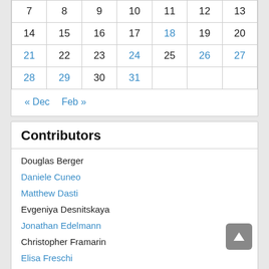| 7 | 8 | 9 | 10 | 11 | 12 | 13 |
| 14 | 15 | 16 | 17 | 18 | 19 | 20 |
| 21 | 22 | 23 | 24 | 25 | 26 | 27 |
| 28 | 29 | 30 | 31 |  |  |  |
« Dec   Feb »
Contributors
Douglas Berger
Daniele Cuneo
Matthew Dasti
Evgeniya Desnitskaya
Jonathan Edelmann
Christopher Framarin
Elisa Freschi
Stephen Harris
Matthew Kapstein